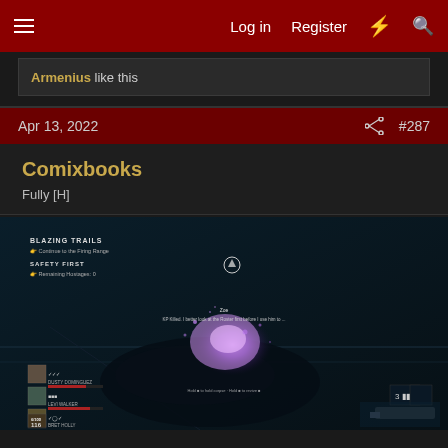Log in  Register
Armenius like this
Apr 13, 2022  #287
Comixbooks
Fully [H]
[Figure (screenshot): Video game screenshot showing a dark scene with a purple glowing entity/explosion effect. On-screen HUD shows objectives: BLAZING TRAILS (Continue to the Firing Range) and SAFETY FIRST (Remaining Hostages: 0). Bottom left shows four character portraits with health bars. Center shows enemy and interaction prompt text.]